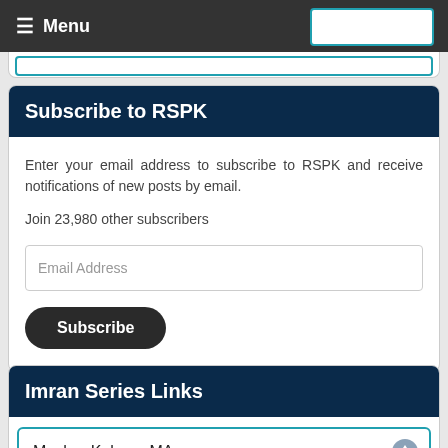Menu
Subscribe to RSPK
Enter your email address to subscribe to RSPK and receive notifications of new posts by email.
Join 23,980 other subscribers
Email Address
Subscribe
Imran Series Links
Mazhar Kaleem MA
Ibn E Safi